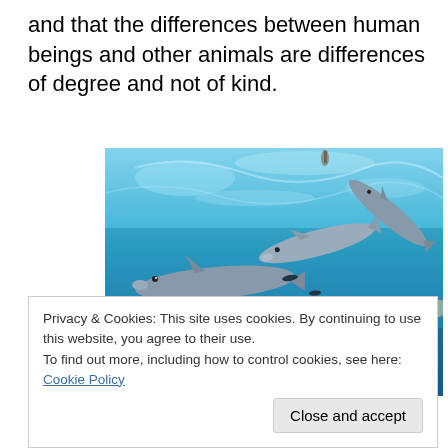and that the differences between human beings and other animals are differences of degree and not of kind.
[Figure (photo): Underwater photograph of a group of dolphins swimming in clear blue ocean water, with light reflections visible on the surface above them.]
Privacy & Cookies: This site uses cookies. By continuing to use this website, you agree to their use.
To find out more, including how to control cookies, see here: Cookie Policy